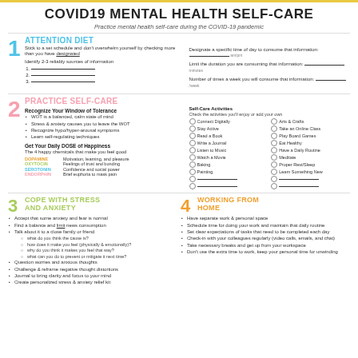COVID19 MENTAL HEALTH SELF-CARE
Practice mental health self-care during the COVID-19 pandemic
1 ATTENTION DIET
Stick to a set schedule and don't overwhelm yourself by checking more than you have designated
Identify 2-3 reliably sources of information
1. ___
2. ___
3. ___
Designate a specific time of day to consume that information: ___ am/pm
Limit the duration you are consuming that information: ___ minutes
Number of times a week you will consume that information: ___ /week
2 PRACTICE SELF-CARE
Recognize Your Window of Tolerance
WOT is a balanced, calm state of mind
Stress & anxiety causes you to leave the WOT
Recognize hypo/hyper-arousal symptoms
Learn self-regulating techniques
Get Your Daily DOSE of Happiness
The 4 happy chemicals that make you feel good
DOPAMINE   Motivation, learning, and pleasure
OXYTOCIN   Feelings of trust and bonding
SEROTONIN  Confidence and social power
ENDORPHIN  Brief euphoria to mask pain
Self-Care Activities
Check the activities you'll enjoy or add your own
Connect Digitally
Stay Active
Read a Book
Write a Journal
Listen to Music
Watch a Movie
Baking
Painting
Arts & Crafts
Take an Online Class
Play Board Games
Eat Healthy
Have a Daily Routine
Meditate
Proper Rest/Sleep
Learn Something New
3 COPE WITH STRESS AND ANXIETY
Accept that some anxiety and fear is normal
Find a balance and limit news consumption
Talk about it to a close family or friend
what do you think the cause is?
how does it make you feel (physically & emotionally)?
why do you think it makes you feel that way?
what can you do to prevent or mitigate it next time?
Question worries and anxious thoughts
Challenge & reframe negative thought distortions
Journal to bring clarity and focus to your mind
Create personalized stress & anxiety relief kit
4 WORKING FROM HOME
Have separate work & personal space
Schedule time for doing your work and maintain that daily routine
Set clear expectations of tasks that need to be completed each day
Check-in with your colleagues regularly (video calls, emails, and chat)
Take necessary breaks and get up from your workspace
Don't use the extra time to work, keep your personal time for unwinding